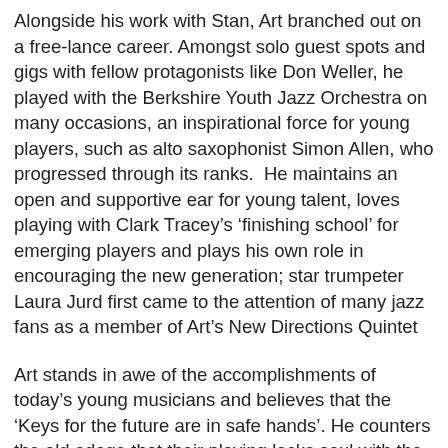Alongside his work with Stan, Art branched out on a free-lance career. Amongst solo guest spots and gigs with fellow protagonists like Don Weller, he played with the Berkshire Youth Jazz Orchestra on many occasions, an inspirational force for young players, such as alto saxophonist Simon Allen, who progressed through its ranks.  He maintains an open and supportive ear for young talent, loves playing with Clark Tracey’s ‘finishing school’ for emerging players and plays his own role in encouraging the new generation; star trumpeter Laura Jurd first came to the attention of many jazz fans as a member of Art’s New Directions Quintet
Art stands in awe of the accomplishments of today’s young musicians and believes that the ‘Keys for the future are in safe hands’. He counters the old adage that their playing lacks soul with the comment that ‘What passes for soul amongst us oldies, is often no more than a schmaltzy vibrato when the lip goes.’ His advice to young players is similarly succinct, ‘Yes, creating jazz is a serious business and we all aim to grow as players through performance and practice, but the pursuit of